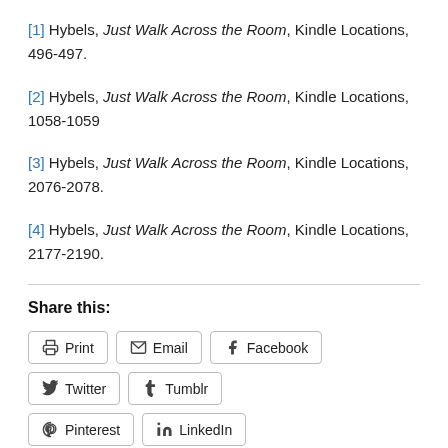[1] Hybels, Just Walk Across the Room, Kindle Locations, 496-497.
[2] Hybels, Just Walk Across the Room, Kindle Locations, 1058-1059
[3] Hybels, Just Walk Across the Room, Kindle Locations, 2076-2078.
[4] Hybels, Just Walk Across the Room, Kindle Locations, 2177-2190.
Share this:
Print | Email | Facebook | Twitter | Tumblr | Pinterest | LinkedIn